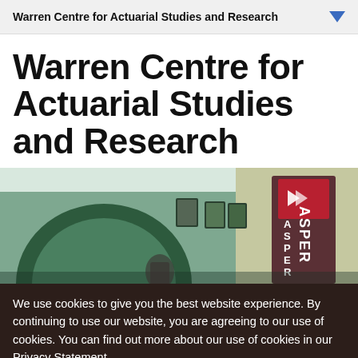Warren Centre for Actuarial Studies and Research
Warren Centre for Actuarial Studies and Research
[Figure (photo): Interior of the Asper building showing framed photos on a curved green-tiled wall and an Asper branded banner/roll-up display on the right side.]
We use cookies to give you the best website experience. By continuing to use our website, you are agreeing to our use of cookies. You can find out more about our use of cookies in our Privacy Statement.
OK, I agree